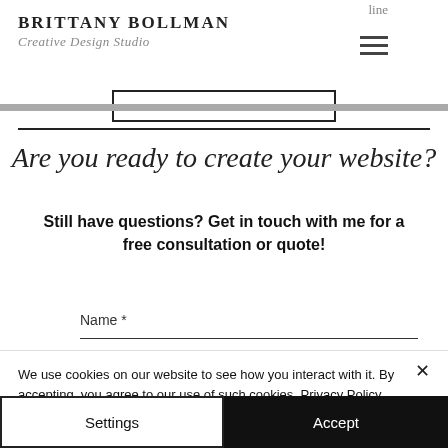line | BRITTANY BOLLMAN Creative Design Studio
Are you ready to create your website?
Still have questions? Get in touch with me for a free consultation or quote!
Name *
We use cookies on our website to see how you interact with it. By accepting, you agree to our use of such cookies. Privacy Policy
Settings
Accept